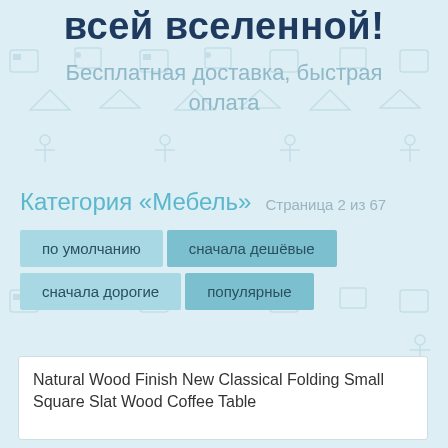всей вселенной!
Бесплатная доставка, быстрая оплата
Категория «Мебель»  Страница 2 из 67
по умолчанию
сначала дешёвые
сначала дорогие
популярные
Natural Wood Finish New Classical Folding Small Square Slat Wood Coffee Table